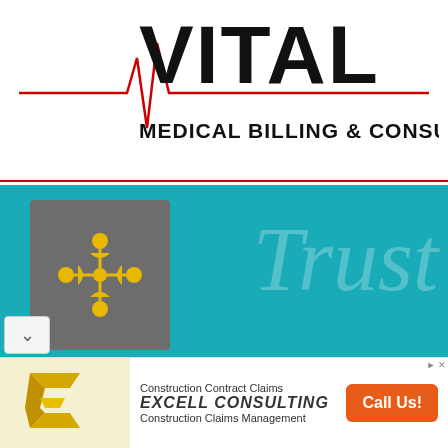[Figure (logo): Vital Medical Billing & Consulting logo with ECG heartbeat line in red and bold black text]
[Figure (illustration): Teal background with gray box containing yellow snowflake/people icon, watermark italic 'Trust', and script text 'Because he's my Dad']
[Figure (illustration): Advertisement banner for Excell Consulting with yellow logo, text 'Construction Contract Claims', 'EXCELL CONSULTING', 'Construction Claims Management', and orange 'Call Us!' button]